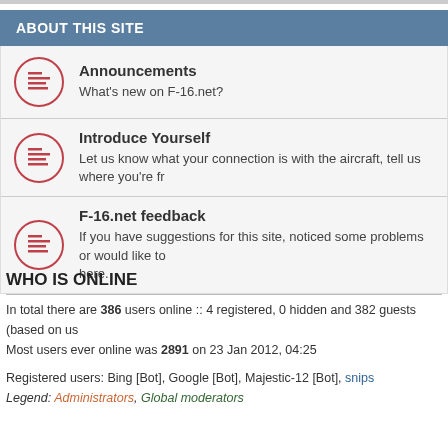ABOUT THIS SITE
Announcements — What's new on F-16.net?
Introduce Yourself — Let us know what your connection is with the aircraft, tell us where you're fr
F-16.net feedback — If you have suggestions for this site, noticed some problems or would like to... here.
WHO IS ONLINE
In total there are 386 users online :: 4 registered, 0 hidden and 382 guests (based on u... Most users ever online was 2891 on 23 Jan 2012, 04:25
Registered users: Bing [Bot], Google [Bot], Majestic-12 [Bot], snips
Legend: Administrators, Global moderators